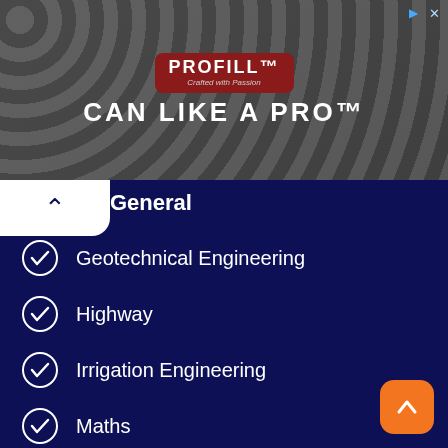[Figure (photo): Advertisement banner: PROFILL 'CAN LIKE A PRO' ad with dark background of metal drums/cans]
General
Geotechnical Engineering
Highway
Irrigation Engineering
Maths
Railway
Solid Waste
Spreadsheets
Survey